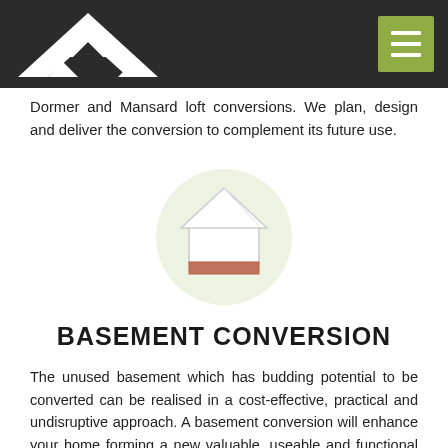Dormer and Mansard loft conversions. We plan, design and deliver the conversion to complement its future use.
[Figure (illustration): House/building isometric icon inside a light green circle, with red/terracotta lower base]
BASEMENT CONVERSION
The unused basement which has budding potential to be converted can be realised in a cost-effective, practical and undisruptive approach. A basement conversion will enhance your home forming a new valuable, useable and functional space. Whether that's a playroom, a home cinema or a practical utility and store room.